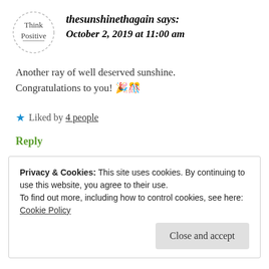thesunshinethagain says: October 2, 2019 at 11:00 am
Another ray of well deserved sunshine. Congratulations to you! 🎉🎊
★ Liked by 4 people
Reply
Privacy & Cookies: This site uses cookies. By continuing to use this website, you agree to their use.
To find out more, including how to control cookies, see here: Cookie Policy
Close and accept